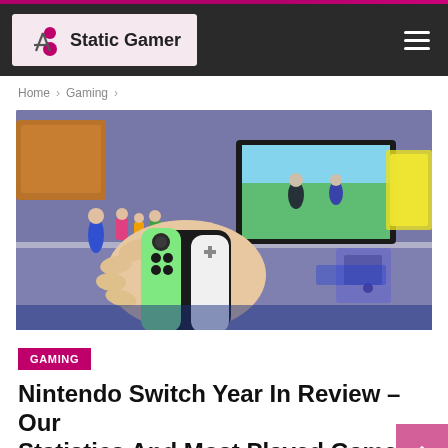Static Gamer
Home > Gaming >
[Figure (photo): A person holding a Nintendo Switch Joy-Con controller (green and white) with a Nintendo Switch screen showing a game in the background, along with gaming collectibles and a GameCube console on a shelf.]
GAMING
Nintendo Switch Year In Review – Our Statistics And Most Played Games